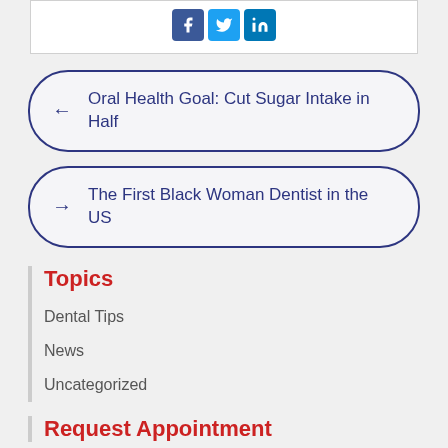[Figure (other): Social media share buttons: Facebook, Twitter, LinkedIn icons]
← Oral Health Goal: Cut Sugar Intake in Half
→ The First Black Woman Dentist in the US
Topics
Dental Tips
News
Uncategorized
Request Appointment